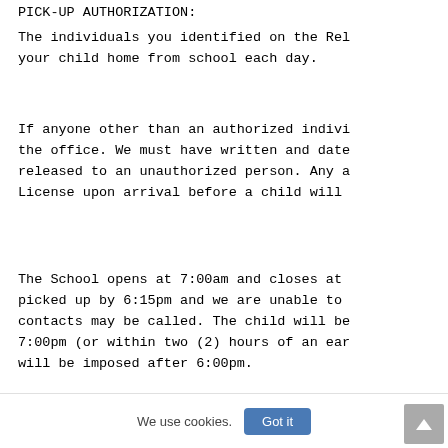PICK-UP AUTHORIZATION:
The individuals you identified on the Rel your child home from school each day.
If anyone other than an authorized indivi the office. We must have written and date released to an unauthorized person. Any a License upon arrival before a child will
The School opens at 7:00am and closes at picked up by 6:15pm and we are unable to contacts may be called. The child will be 7:00pm (or within two (2) hours of an ear will be imposed after 6:00pm.
We use cookies. Got it